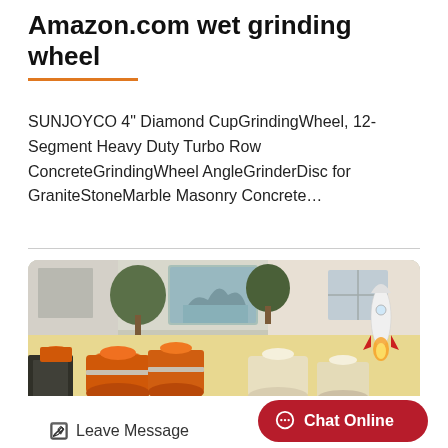Amazon.com wet grinding wheel
SUNJOYCO 4" Diamond CupGrindingWheel, 12-Segment Heavy Duty Turbo Row ConcreteGrindingWheel AngleGrinderDisc for GraniteStoneMarble Masonry Concrete…
[Figure (photo): Photo showing multiple orange and cream/yellow industrial grinding machines or mills arranged outdoors in a factory yard, with trees, a building, a decorative painting, and a cartoon rocket graphic in the upper right.]
Leave Message
Chat Online